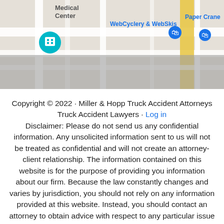[Figure (screenshot): Google Maps screenshot showing street map with markers for 'WebCyclery & WebSkis', 'Paper Crane', and a medical center icon. Map has teal/blue location pins and typical Google Maps road layout.]
Copyright © 2022 · Miller & Hopp Truck Accident Attorneys Truck Accident Lawyers · Log in Disclaimer: Please do not send us any confidential information. Any unsolicited information sent to us will not be treated as confidential and will not create an attorney-client relationship. The information contained on this website is for the purpose of providing you information about our firm. Because the law constantly changes and varies by jurisdiction, you should not rely on any information provided at this website. Instead, you should contact an attorney to obtain advice with respect to any particular issue or problem. This is not legal advice nor does using our contact us form or email establish any attorney-client relationship. To create an